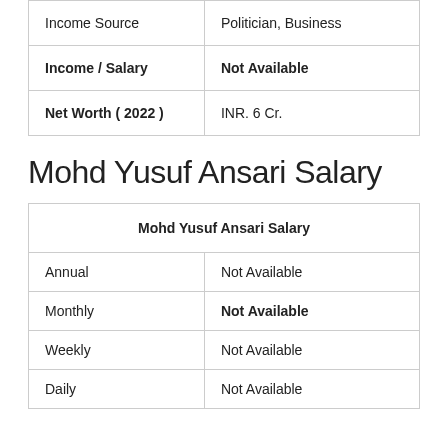| Income Source | Politician, Business |
| Income / Salary | Not Available |
| Net Worth ( 2022 ) | INR. 6 Cr. |
Mohd Yusuf Ansari Salary
| Mohd Yusuf Ansari Salary |
| --- |
| Annual | Not Available |
| Monthly | Not Available |
| Weekly | Not Available |
| Daily | Not Available |